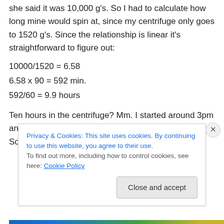she said it was 10,000 g's.  So I had to calculate how long mine would spin at, since my centrifuge only goes to 1520 g's.  Since the relationship is linear it's straightforward to figure out:
Ten hours in the centrifuge?  Mm.  I started around 3pm and didn't feel like waiting until 1am to see the results.  So I decided 5 hours was plenty.
Privacy & Cookies: This site uses cookies. By continuing to use this website, you agree to their use.
To find out more, including how to control cookies, see here: Cookie Policy